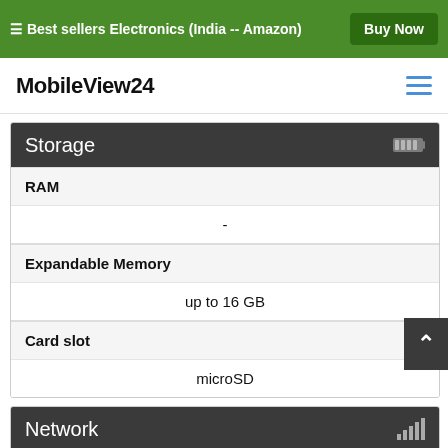☰ Best sellers Electronics (India -- Amazon) | Buy Now
MobileView24
Storage
| Specification | Value |
| --- | --- |
| RAM | - |
| Expandable Memory | up to 16 GB |
| Card slot | microSD |
Network